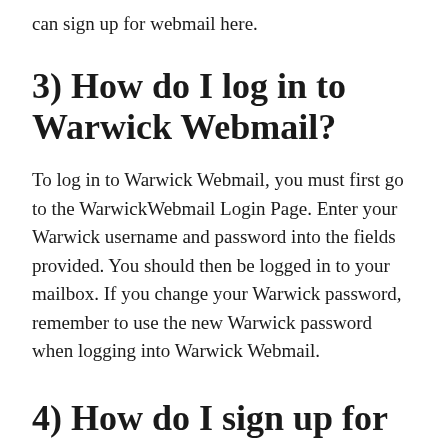can sign up for webmail here.
3) How do I log in to Warwick Webmail?
To log in to Warwick Webmail, you must first go to the WarwickWebmail Login Page. Enter your Warwick username and password into the fields provided. You should then be logged in to your mailbox. If you change your Warwick password, remember to use the new Warwick password when logging into Warwick Webmail.
4) How do I sign up for